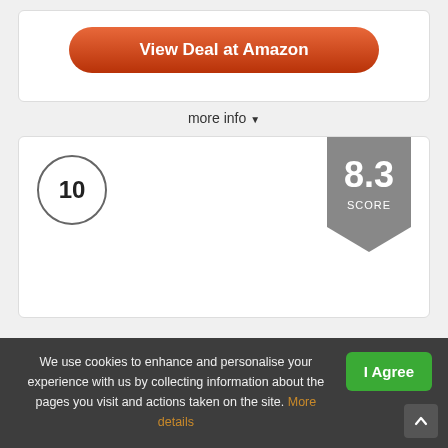[Figure (other): Orange rounded button labeled 'View Deal at Amazon']
more info ▾
[Figure (other): Rank badge showing number 10 in a circle, and a grey shield score badge showing 8.3 SCORE]
We use cookies to enhance and personalise your experience with us by collecting information about the pages you visit and actions taken on the site. More details
[Figure (other): Green 'I Agree' button in cookie banner]